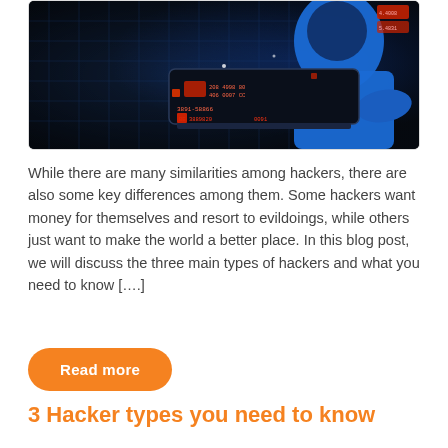[Figure (photo): A person in a blue hoodie using a laptop with cybersecurity/hacking themed red and blue digital overlays and data streams on a dark background.]
While there are many similarities among hackers, there are also some key differences among them. Some hackers want money for themselves and resort to evildoings, while others just want to make the world a better place. In this blog post, we will discuss the three main types of hackers and what you need to know [….]
Read more
3 Hacker types you need to know